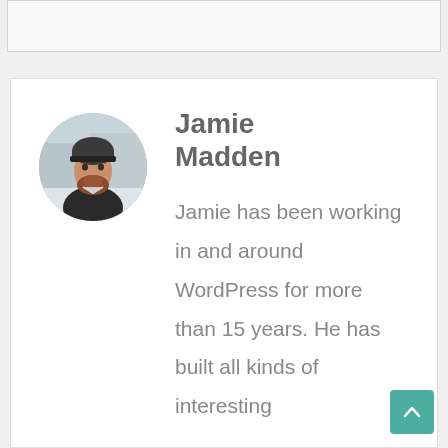[Figure (other): Gray horizontal bar/header area at the top of the page]
[Figure (photo): Circular profile photo of Jamie Madden, a bearded man wearing a dark jacket and beanie hat, photographed outdoors in a wintry setting]
Jamie Madden
Jamie has been working in and around WordPress for more than 15 years. He has built all kinds of interesting